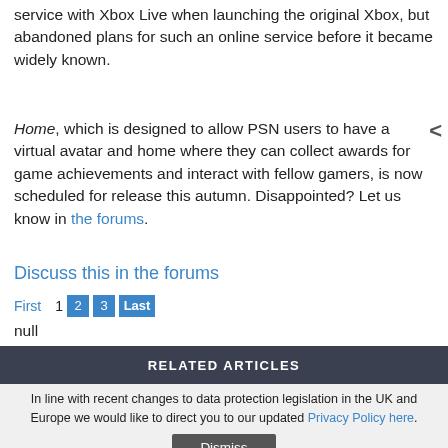service with Xbox Live when launching the original Xbox, but abandoned plans for such an online service before it became widely known.
Home, which is designed to allow PSN users to have a virtual avatar and home where they can collect awards for game achievements and interact with fellow gamers, is now scheduled for release this autumn. Disappointed? Let us know in the forums.
Discuss this in the forums
First 1 2 3 Last
null
RELATED ARTICLES
In line with recent changes to data protection legislation in the UK and Europe we would like to direct you to our updated Privacy Policy here.
Dismiss